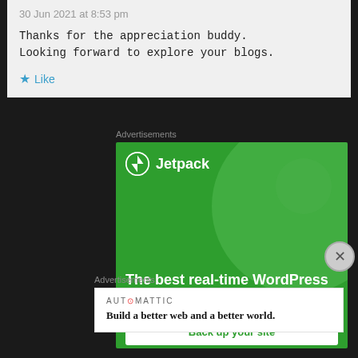30 Jun 2021 at 8:53 pm
Thanks for the appreciation buddy. Looking forward to explore your blogs.
Like
Advertisements
[Figure (screenshot): Jetpack advertisement banner: green background with large circle graphic, Jetpack logo and text 'The best real-time WordPress backup plugin', and a 'Back up your site' button]
Advertisements
[Figure (screenshot): Automattic advertisement: white box with AUTOMATTIC logo and tagline 'Build a better web and a better world.']